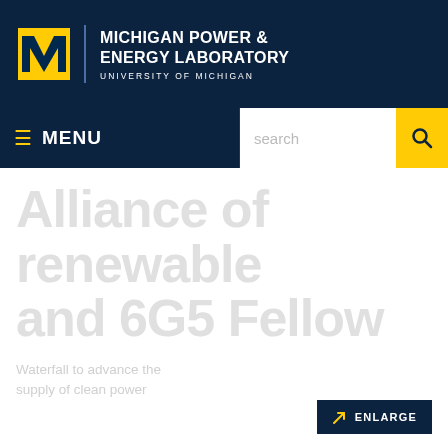Michigan Power & Energy Laboratory – University of Michigan
≡ MENU | search
Alliance of renewable and 6G5 Fellow
ENLARGE